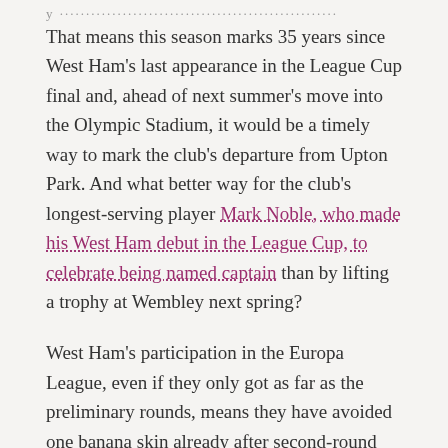That means this season marks 35 years since West Ham's last appearance in the League Cup final and, ahead of next summer's move into the Olympic Stadium, it would be a timely way to mark the club's departure from Upton Park. And what better way for the club's longest-serving player Mark Noble, who made his West Ham debut in the League Cup, to celebrate being named captain than by lifting a trophy at Wembley next spring?
West Ham's participation in the Europa League, even if they only got as far as the preliminary rounds, means they have avoided one banana skin already after second-round defeats by Sheffield United and Aldershot at home in recent years.
Still, the third round hasn't been much kinder given they have been knocked out of the competition five times at